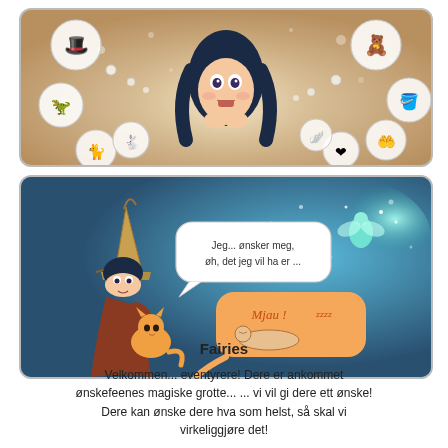[Figure (illustration): Top comic panel: An anime-style girl with dark blue hair and wide excited eyes surrounded by thought bubbles containing fantasy objects like a witch hat, dinosaur, cat, rabbit, teddy bear, pot, hand, heart, and wings. Soft bokeh background.]
[Figure (illustration): Bottom comic panel: A girl in a pointed wizard hat holding a small orange cat, with a white speech bubble saying 'Jeg... ønsker meg, øh, det jeg vil ha er ...' and an orange speech bubble saying 'Mjau! zzzz' with a sleeping cat. A fairy glows in the background on the right.]
Fairies
Velkommen... eventyrere! Dere er ankommet ønskefeenes magiske grotte... ... vi vil gi dere ett ønske! Dere kan ønske dere hva som helst, så skal vi virkeliggjøre det!